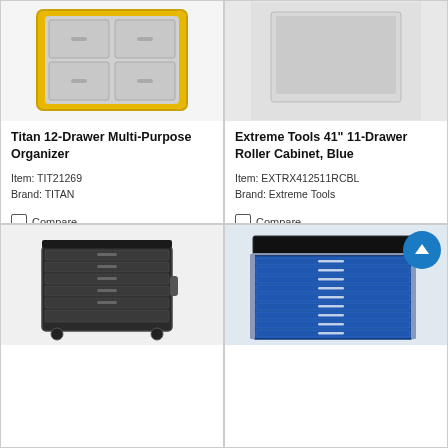[Figure (photo): Titan 12-Drawer Multi-Purpose Organizer product image – yellow-framed organizer with clear plastic drawers]
Titan 12-Drawer Multi-Purpose Organizer
Item: TIT21269
Brand: TITAN
Compare
[Figure (photo): Extreme Tools 41" 11-Drawer Roller Cabinet Blue – gray/white product image placeholder]
Extreme Tools 41" 11-Drawer Roller Cabinet, Blue
Item: EXTRX412511RCBL
Brand: Extreme Tools
Compare
[Figure (photo): Dark/black rolling tool chest with multiple drawers on wheels]
[Figure (photo): Blue Extreme Tools wide roller cabinet with many drawers]